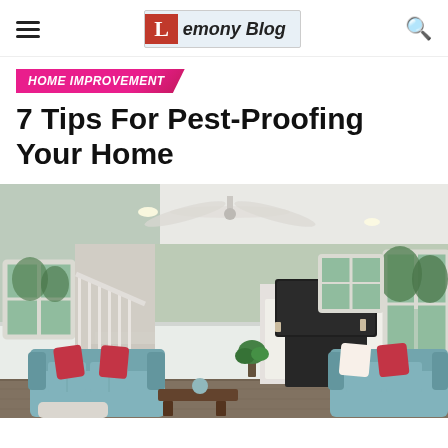Lemony Blog
HOME IMPROVEMENT
7 Tips For Pest-Proofing Your Home
[Figure (photo): Bright, open living room with light mint-green walls, white wainscoting, hardwood floors, a white fireplace with a TV mounted above it, teal/blue sofas with red accent pillows, a wooden coffee table, staircase visible in background, ceiling fan above, and large windows letting in natural light.]